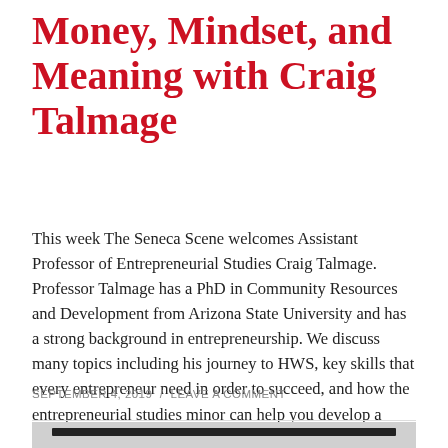Money, Mindset, and Meaning with Craig Talmage
This week The Seneca Scene welcomes Assistant Professor of Entrepreneurial Studies Craig Talmage. Professor Talmage has a PhD in Community Resources and Development from Arizona State University and has a strong background in entrepreneurship. We discuss many topics including his journey to HWS, key skills that every entrepreneur need in order to succeed, and how the entrepreneurial studies minor can help you develop a mindset that will benefit … Continue reading
SEPTEMBER 4, 2019 / LEAVE A COMMENT
[Figure (photo): Partially visible photograph at the bottom of the page, showing a building or outdoor scene, with a dark horizontal bar overlaid near the top of the image.]